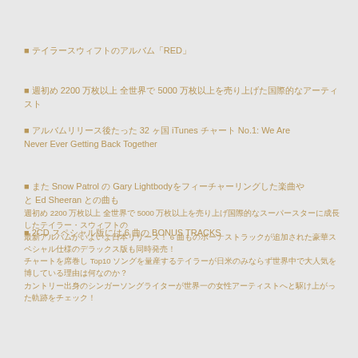■ テイラースウィフトのアルバム「RED」
■ 週初め 2200 万枚以上 全世界で 5000 万枚以上を売り上げた国際的なアーティスト
■ アルバムリリース後たった 32 ヶ国 iTunes チャート No.1: We Are Never Ever Getting Back Together
■ また Snow Patrol の Gary Lightbodyをフィーチャーリングした楽曲や Ed Sheeran との曲も
■ 2CD スペシャル版には 6 曲の BONUS TRACKS
週初め 2200 万枚以上 全世界で 5000 万枚以上を売り上げ国際的なスーパースターに成長したテイラー・スウィフトの
最新アルバムがいよいよ日本リリース！ 6 曲ものボーナストラックが追加された豪華スペシャル仕様のデラックス版も同時発売！
チャートを席巻し Top10 ソングを量産するテイラーが日米のみならず世界中で大人気を博している理由は何なのか？
カントリー出身のシンガーソングライターが世界一の女性アーティストへと駆け上がった軌跡をチェック！